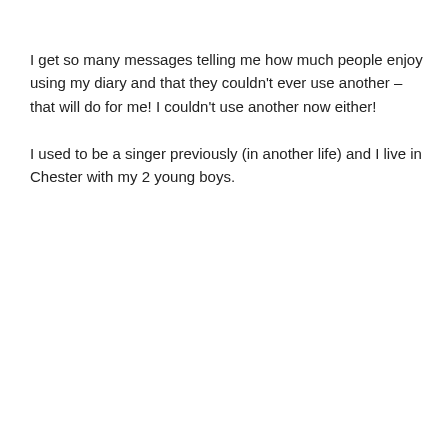I get so many messages telling me how much people enjoy using my diary and that they couldn't ever use another – that will do for me!  I couldn't use another now either!
I used to be a singer previously (in another life) and I live in Chester with my 2 young boys.